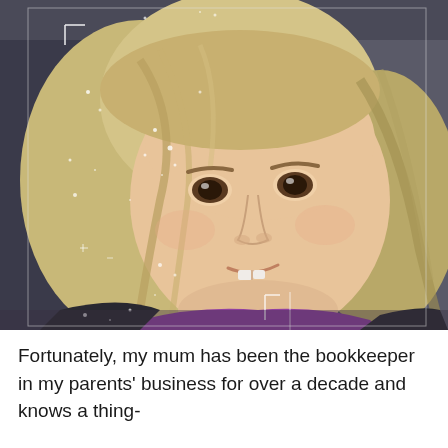[Figure (photo): Close-up photo of a young blonde girl with brown eyes, wearing a purple top and dark jacket, sitting in what appears to a car seat. The video still has white overlay marks/tracking indicators visible.]
Fortunately, my mum has been the bookkeeper in my parents' business for over a decade and knows a thing-